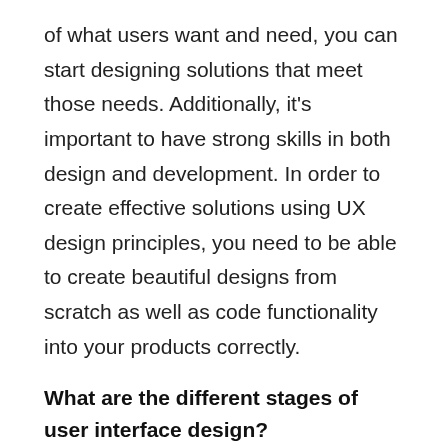of what users want and need, you can start designing solutions that meet those needs. Additionally, it's important to have strong skills in both design and development. In order to create effective solutions using UX design principles, you need to be able to create beautiful designs from scratch as well as code functionality into your products correctly.
What are the different stages of user interface design?
User interface design is a process that begins with understanding the user and their needs